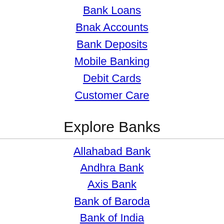Bank Loans
Bnak Accounts
Bank Deposits
Mobile Banking
Debit Cards
Customer Care
Explore Banks
Allahabad Bank
Andhra Bank
Axis Bank
Bank of Baroda
Bank of India
Canara Bank